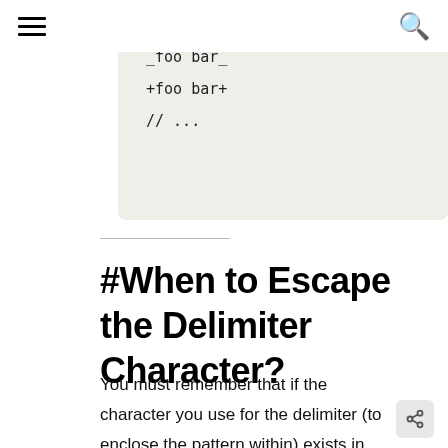≡   [navigation]   🔍
_foo bar_
+foo bar+
// ...
#When to Escape the Delimiter Character?
You must remember that if the character you use for the delimiter (to enclose the pattern within) exists in the pattern itself, then you must